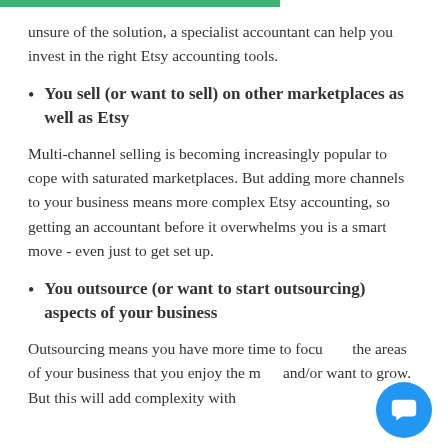unsure of the solution, a specialist accountant can help you invest in the right Etsy accounting tools.
You sell (or want to sell) on other marketplaces as well as Etsy
Multi-channel selling is becoming increasingly popular to cope with saturated marketplaces. But adding more channels to your business means more complex Etsy accounting, so getting an accountant before it overwhelms you is a smart move - even just to get set up.
You outsource (or want to start outsourcing) aspects of your business
Outsourcing means you have more time to focus on the areas of your business that you enjoy the most and/or want to grow. But this will add complexity with